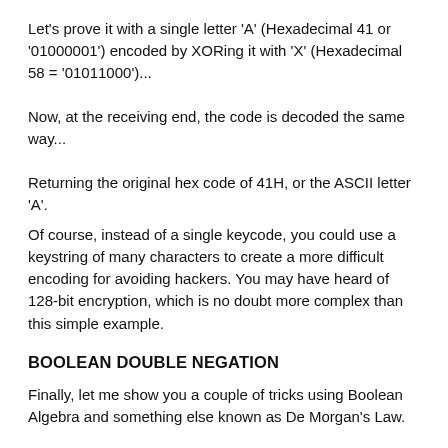Let's prove it with a single letter 'A' (Hexadecimal 41 or '01000001') encoded by XORing it with 'X' (Hexadecimal 58 = '01011000')...
Now, at the receiving end, the code is decoded the same way...
Returning the original hex code of 41H, or the ASCII letter 'A'.
Of course, instead of a single keycode, you could use a keystring of many characters to create a more difficult encoding for avoiding hackers. You may have heard of 128-bit encryption, which is no doubt more complex than this simple example.
BOOLEAN DOUBLE NEGATION
Finally, let me show you a couple of tricks using Boolean Algebra and something else known as De Morgan's Law.
NEGATION
Let us invert the output of an inverter, making Q = INV'A', which